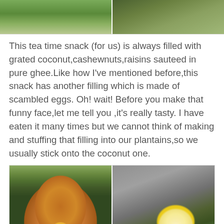[Figure (photo): Two photos side by side showing green foliage/plants]
This tea time snack (for us) is always filled with grated coconut,cashewnuts,raisins sauteed in pure ghee.Like how I've mentioned before,this snack has another filling which is made of scambled eggs. Oh! wait! Before you make that funny face,let me tell you ,it's really tasty. I have eaten it many times but we cannot think of making and stuffing that filling into our plantains,so we usually stick onto the coconut one.
[Figure (photo): Two food photos side by side: left shows stacked fried plantain snacks with yellow flowers, right shows a yellow flower in a glass bowl on a banana leaf with a fried snack]